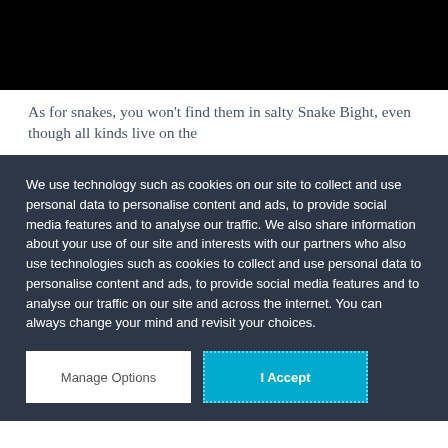[Figure (photo): Black rectangle representing a video or image placeholder at the top of the page]
As for snakes, you won't find them in salty Snake Bight, even though all kinds live on the
We use technology such as cookies on our site to collect and use personal data to personalise content and ads, to provide social media features and to analyse our traffic. We also share information about your use of our site and interests with our partners who also use technologies such as cookies to collect and use personal data to personalise content and ads, to provide social media features and to analyse our traffic on our site and across the internet. You can always change your mind and revisit your choices.
Manage Options
I Accept